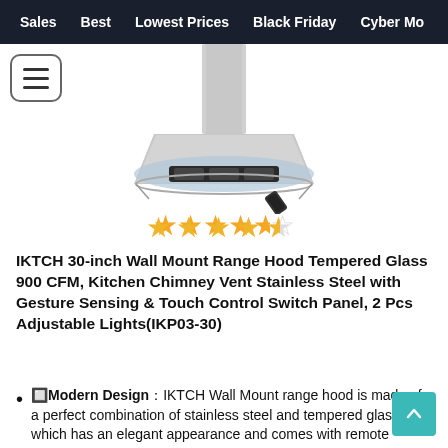Sales  Best  Lowest Prices  Black Friday  Cyber Mo
[Figure (photo): IKTCH wall mount range hood with stainless steel and tempered glass design, chimney style, shown with remote control]
[Figure (other): 4.5 out of 5 stars rating shown as yellow stars]
IKTCH 30-inch Wall Mount Range Hood Tempered Glass 900 CFM, Kitchen Chimney Vent Stainless Steel with Gesture Sensing & Touch Control Switch Panel, 2 Pcs Adjustable Lights(IKP03-30)
🔲Modern Design：IKTCH Wall Mount range hood is made of a perfect combination of stainless steel and tempered glass, which has an elegant appearance and comes with remote control. The